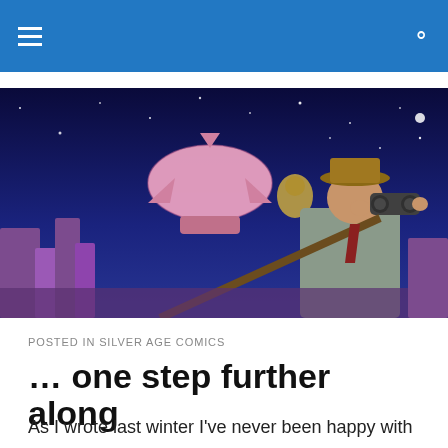[Figure (illustration): Steampunk-style illustration showing a man in a cowboy hat and trench coat using binoculars, holding a rifle, with a pink airship/blimp in a starry night sky background with purple rock formations.]
POSTED IN SILVER AGE COMICS
… one step further along
As I wrote last winter I've never been happy with the Batgirl cut-paper sculpt that I put together five or six years